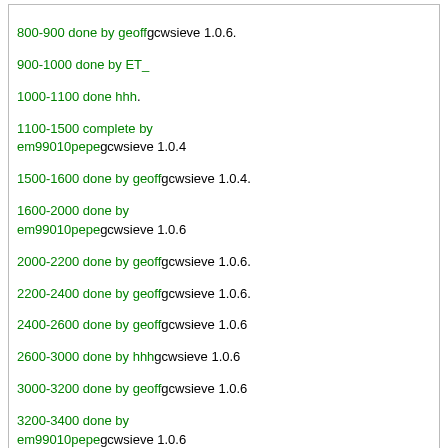[COLOR="green"]800-900 done by geoff[/COLOR]gcwsieve 1.0.6.
[COLOR="green"]900-1000 done by ET_[/COLOR]
[COLOR="green"]1000-1100 done hhh[/COLOR].
[COLOR="green"]1100-1500 complete by em99010pepe[/COLOR]gcwsieve 1.0.4
[COLOR="green"]1500-1600 done by geoff[/COLOR]gcwsieve 1.0.4.
[COLOR="green"]1600-2000 done by em99010pepe[/COLOR]gcwsieve 1.0.6
[COLOR="green"]2000-2200 done by geoff[/COLOR]gcwsieve 1.0.6.
[COLOR="green"]2200-2400 done by geoff[/COLOR]gcwsieve 1.0.6.
[COLOR="green"]2400-2600 done by geoff[/COLOR]gcwsieve 1.0.6
[COLOR="green"]2600-3000 done by hhh[/COLOR]gcwsieve 1.0.6
[COLOR="green"]3000-3200 done by geoff[/COLOR]gcwsieve 1.0.6
[COLOR="green"]3200-3400 done by em99010pepe[/COLOR]gcwsieve 1.0.6
[COLOR="green"]3400-3600 done by geoff[/COLOR]gcwsieve 1.0.6
[COLOR="green"]3600-4000 done by hhh[/COLOR]gcwsieve 1.0.6
[COLOR="green"]4000-4200 done by geoff[/COLOR]gcwsieve 1.0.6
[COLOR="green"]4200-5000 done by geoff[/COLOR]
[COLOR="red"]PLEASE RESERVE HERE[/COLOR]

Please reserve multiples of 100G. Thank you.
Posts can be deleted without notice at any time. :whistle:
All times are UTC. The time now is 01:49.
Powered by vBulletin® Version 3.8.11
Copyright ©2000 - 2022, Jelsoft Enterprises Ltd.